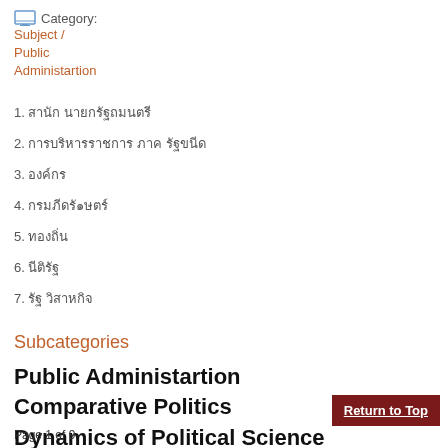Category: Subject / Public Administartion
1. [Thai text item 1]
2. [Thai text item 2]
3. [Thai text item 3]
4. [Thai text item 4]
5. [Thai text item 5]
6. [Thai text item 6]
7. [Thai text item 7]
Subcategories
Public Administartion
Comparative Politics
Dynamics of Political Science
Page 1 of 9